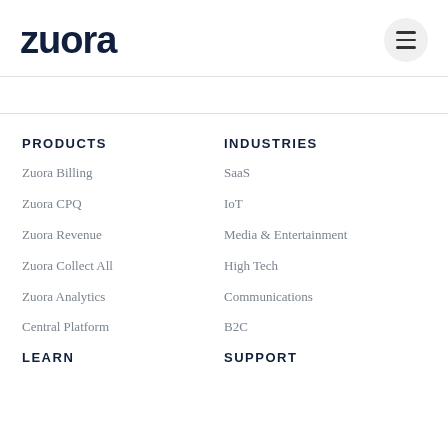zuora
PRODUCTS
INDUSTRIES
Zuora Billing
SaaS
Zuora CPQ
IoT
Zuora Revenue
Media & Entertainment
Zuora Collect All
High Tech
Zuora Analytics
Communications
Central Platform
B2C
LEARN
SUPPORT